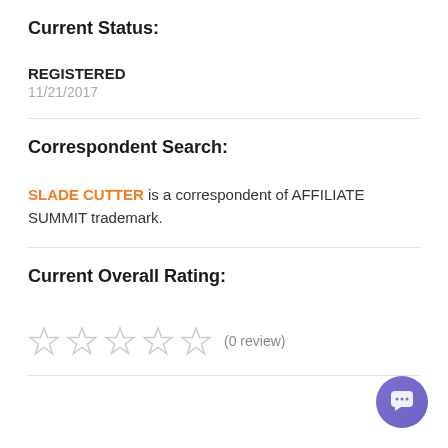Current Status:
REGISTERED
11/21/2017
Correspondent Search:
SLADE CUTTER is a correspondent of AFFILIATE SUMMIT trademark.
Current Overall Rating:
☆ ☆ ☆ ☆ ☆ (0 review)